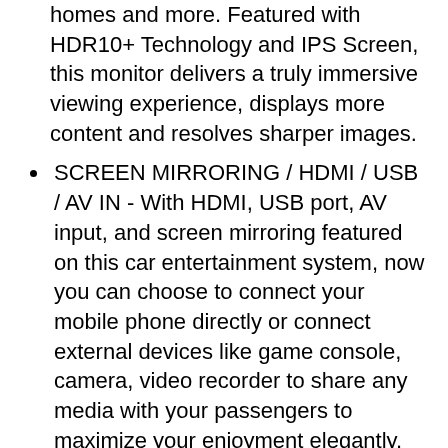homes and more. Featured with HDR10+ Technology and IPS Screen, this monitor delivers a truly immersive viewing experience, displays more content and resolves sharper images.
SCREEN MIRRORING / HDMI / USB / AV IN - With HDMI, USB port, AV input, and screen mirroring featured on this car entertainment system, now you can choose to connect your mobile phone directly or connect external devices like game console, camera, video recorder to share any media with your passengers to maximize your enjoyment elegantly. Enjoy multiple endless entertainments even on the road.
SUPPORT 8K FORMAT VIDEO – You